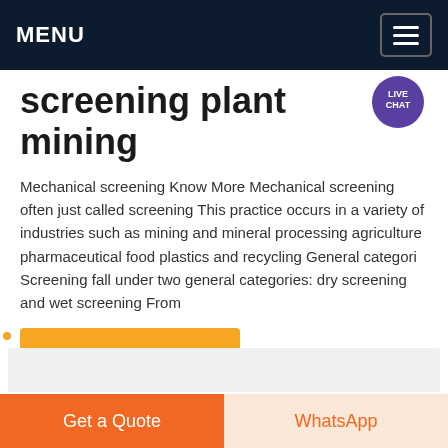MENU
screening plant mining
Mechanical screening Know More Mechanical screening often just called screening This practice occurs in a variety of industries such as mining and mineral processing agriculture pharmaceutical food plastics and recycling General categori Screening fall under two general categories: dry screening and wet screening From
Get price
Get a Quote   WhatsApp